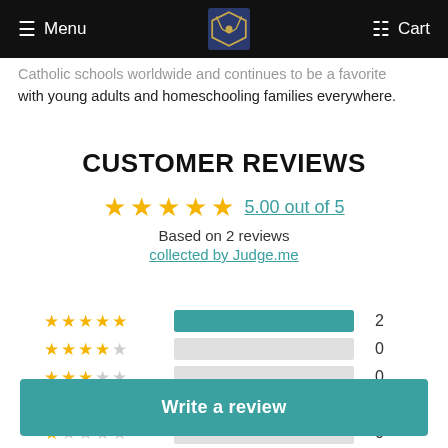Menu | [logo] | Cart
Catholic schools worldwide and continues to be a favorite with young adults and homeschooling families everywhere.
CUSTOMER REVIEWS
5.00 out of 5
Based on 2 reviews
collected by Judge.me
[Figure (bar-chart): Rating distribution]
Write a review